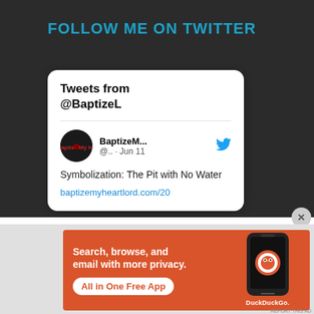FOLLOW ME ON TWITTER
[Figure (screenshot): Twitter widget card showing 'Tweets from @BaptizeL' header, with a tweet by BaptizeM... @.. Jun 11 reading 'Symbolization: The Pit with No Water' and a link to baptizemyheartlord.com/20]
[Figure (infographic): DuckDuckGo advertisement banner with orange background. Text reads 'Search, browse, and email with more privacy. All in One Free App' with a phone image and DuckDuckGo logo.]